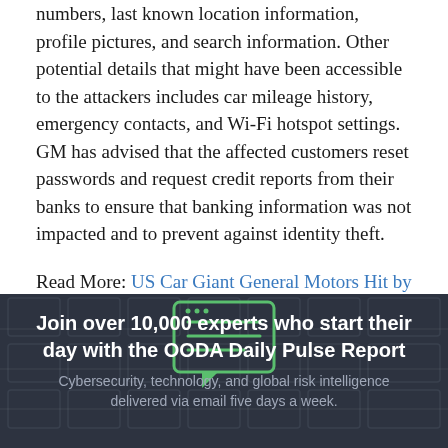numbers, last known location information, profile pictures, and search information. Other potential details that might have been accessible to the attackers includes car mileage history, emergency contacts, and Wi-Fi hotspot settings. GM has advised that the affected customers reset passwords and request credit reports from their banks to ensure that banking information was not impacted and to prevent against identity theft.
Read More: US Car Giant General Motors Hit by Cyber-Attack Exposing Car Owners' Personal Info
[Figure (infographic): Dark banner with a chat/message icon in green outline, heading 'Join over 10,000 experts who start their day with the OODA Daily Pulse Report', and subtitle 'Cybersecurity, technology, and global risk intelligence delivered via email five days a week.']